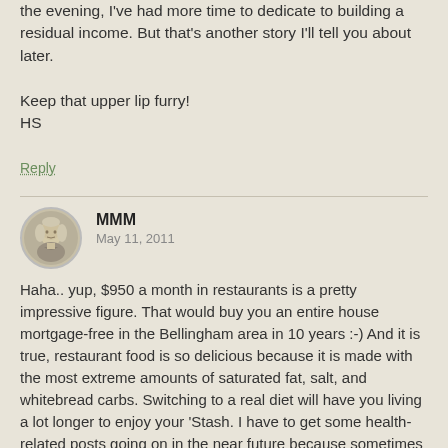And since I haven't been going out for beers in the evening, I've had more time to dedicate to building a residual income. But that's another story I'll tell you about later.

Keep that upper lip furry!
HS
Reply
MMM
May 11, 2011
Haha.. yup, $950 a month in restaurants is a pretty impressive figure. That would buy you an entire house mortgage-free in the Bellingham area in 10 years :-) And it is true, restaurant food is so delicious because it is made with the most extreme amounts of saturated fat, salt, and whitebread carbs. Switching to a real diet will have you living a lot longer to enjoy your 'Stash. I have to get some health-related posts going on in the near future because sometimes people forget that health equals wealth in many ways.
Reply